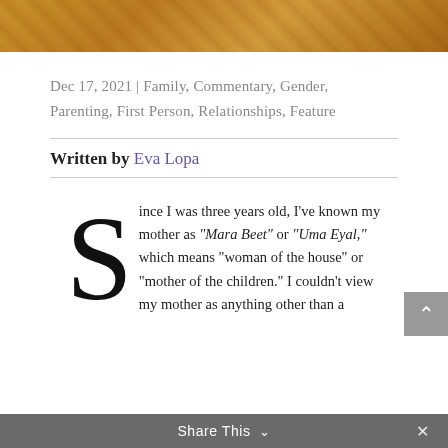[Figure (photo): Cropped bottom portion of a photo with warm golden/brown tones, appears to show people in traditional or decorative attire]
Dec 17, 2021 | Family, Commentary, Gender, Parenting, First Person, Relationships, Feature
Written by Eva Lopa
Since I was three years old, I've known my mother as "Mara Beet" or "Uma Eyal," which means "woman of the house" or "mother of the children." I couldn't view my mother as anything other than a